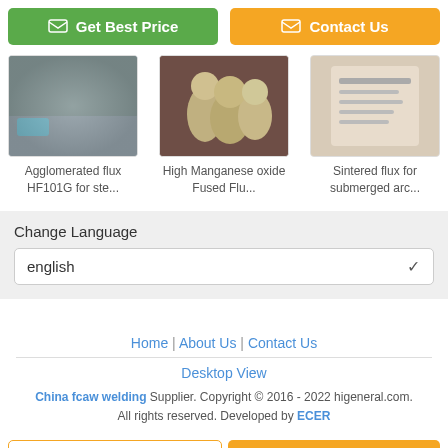[Figure (other): Two action buttons: green 'Get Best Price' and orange 'Contact Us']
[Figure (photo): Three product thumbnails: Agglomerated flux HF101G, High Manganese oxide Fused Flu..., Sintered flux for submerged arc...]
Agglomerated flux HF101G for ste...
High Manganese oxide Fused Flu...
Sintered flux for submerged arc...
Change Language
english
Home | About Us | Contact Us
Desktop View
China fcaw welding Supplier. Copyright © 2016 - 2022 higeneral.com. All rights reserved. Developed by ECER
[Figure (other): Bottom action buttons: 'Chat Now' and 'Request A Quote']